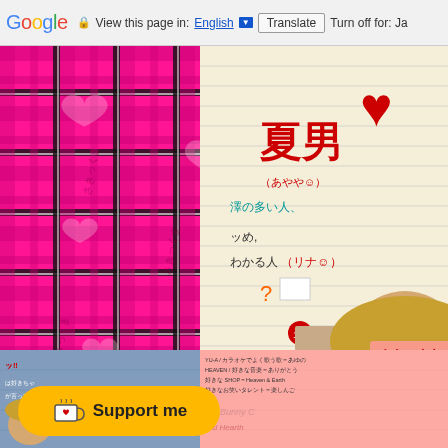Google  View this page in: English [▼]  Translate  Turn off for: Ja
[Figure (photo): Pink and black plaid/tartan pattern background with white heart motifs and faint Japanese text watermarks]
[Figure (photo): Japanese fashion magazine page showing a young woman with blonde hair and heavy makeup, with Japanese profile text about 'さきっくま' including personal details, hobbies, favorite shops, music (LGY, INFINITY, AKB48, YU-A), karaoke songs, and 'Bunny C' branding]
Support me